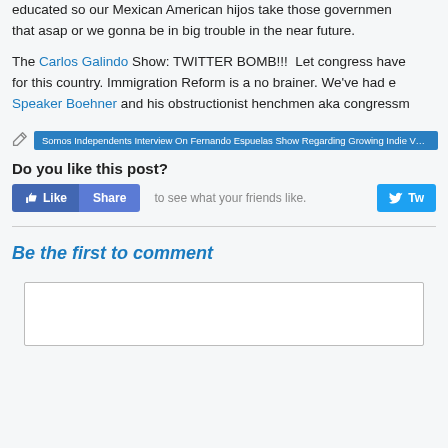educated so our Mexican American hijos take those government jobs... that asap or we gonna be in big trouble in the near future.
The Carlos Galindo Show: TWITTER BOMB!!! Let congress have it for this country. Immigration Reform is a no brainer. We've had e... Speaker Boehner and his obstructionist henchmen aka congressm...
Somos Independents Interview On Fernando Espuelas Show Regarding Growing Indie Voter...
Do you like this post?
Like  Share  to see what your friends like.  Twe...
Be the first to comment